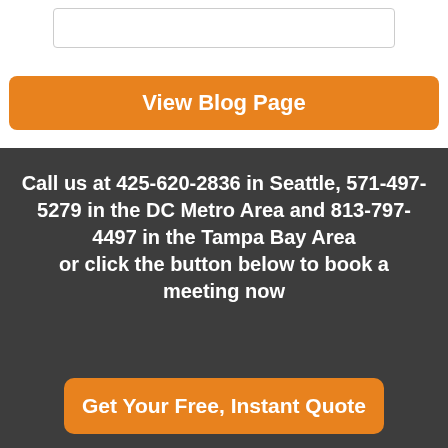[Figure (other): Input text box (form field)]
View Blog Page
Call us at 425-620-2836 in Seattle, 571-497-5279 in the DC Metro Area and 813-797-4497 in the Tampa Bay Area or click the button below to book a meeting now
Get Your Free, Instant Quote